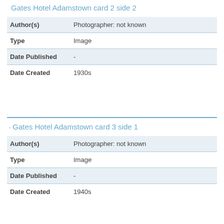Gates Hotel Adamstown card 2 side 2
| Field | Value |
| --- | --- |
| Author(s) | Photographer: not known |
| Type | Image |
| Date Published | - |
| Date Created | 1930s |
Gates Hotel Adamstown card 3 side 1
| Field | Value |
| --- | --- |
| Author(s) | Photographer: not known |
| Type | Image |
| Date Published | - |
| Date Created | 1940s |